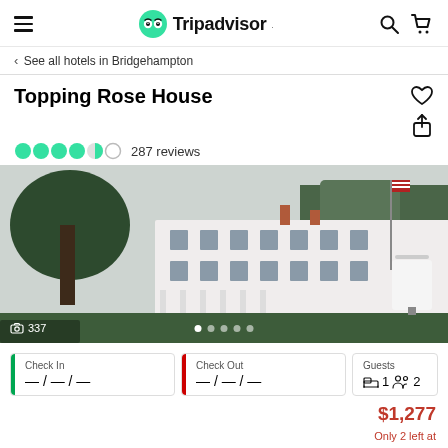Tripadvisor
< See all hotels in Bridgehampton
Topping Rose House
287 reviews
[Figure (photo): Exterior photo of Topping Rose House, a large white historic building with wraparound porch, large trees, American flag on pole, and hotel sign. Photo count: 337.]
| Check In | Check Out | Guests |
| --- | --- | --- |
| — / — / — | — / — / — | 1 bed  2 guests |
$1,277
Only 2 left at